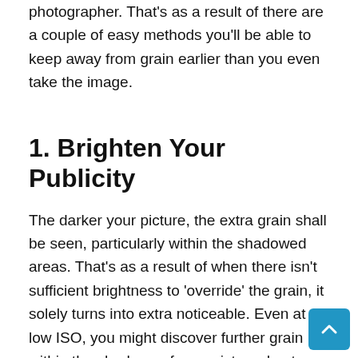photographer. That's as a result of there are a couple of easy methods you'll be able to keep away from grain earlier than you even take the image.
1. Brighten Your Publicity
The darker your picture, the extra grain shall be seen, particularly within the shadowed areas. That's as a result of when there isn't sufficient brightness to 'override' the grain, it solely turns into extra noticeable. Even at a low ISO, you might discover further grain within the shadows of your picture due to this.